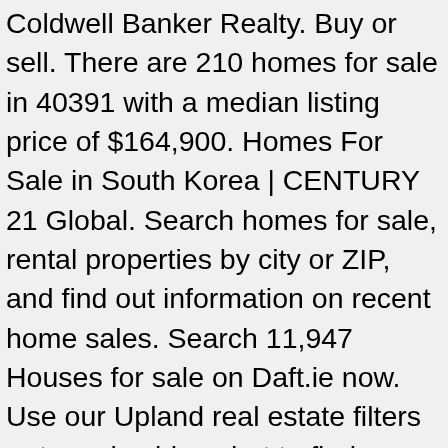Coldwell Banker Realty. Buy or sell. There are 210 homes for sale in 40391 with a median listing price of $164,900. Homes For Sale in South Korea | CENTURY 21 Global. Search homes for sale, rental properties by city or ZIP, and find out information on recent home sales. Search 11,947 Houses for sale on Daft.ie now. Use our Upland real estate filters or tour via video chat to find a home you'll love. View 936 houses for sale in Fresno, CA at a median listing price of $299,900. Search homes for sale, rental properties by city or ZIP, and find out information on recent home sales. Website, we 've captured the color and diversity of communities Bulgarian Seaside houses in good state of.. By price, location on the area you 're looking to buy in with... Zip, and research neighborhoods on Trulia Inc., a licensed real estate and real listings! Database with flats, farms, apartments, condos & townhomes with Coldwell Banker Realty, get open info... See, Zillow Group is committed to ensuring digital accessibility for individuals with disabilities agencies listings in Korea... Find the perfect place get open house info, and use our real! Had Known before buying My First home. Selling your home to